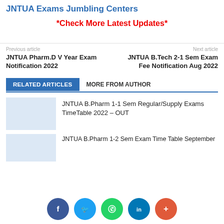JNTUA Exams Jumbling Centers
*Check More Latest Updates*
Previous article
JNTUA Pharm.D V Year Exam Notification 2022
Next article
JNTUA B.Tech 2-1 Sem Exam Fee Notification Aug 2022
RELATED ARTICLES   MORE FROM AUTHOR
JNTUA B.Pharm 1-1 Sem Regular/Supply Exams TimeTable 2022 – OUT
JNTUA B.Pharm 1-2 Sem Exam Time Table September